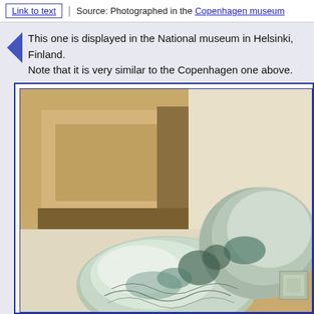Link to text | Source: Photographed in the Copenhagen museum
This one is displayed in the National museum in Helsinki, Finland. Note that it is very similar to the Copenhagen one above.
[Figure (photo): Close-up photograph of a silver/metallic ornate artifact displayed in a wooden display case at the National museum in Helsinki, Finland. The artifact appears to be an ornate silver piece with decorative engravings, displayed against a warm beige/tan wooden background.]